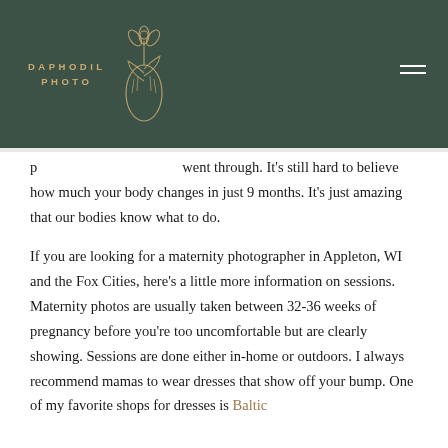DAPHODIL PHOTO
p [truncated] went through. It's still hard to believe how much your body changes in just 9 months. It's just amazing that our bodies know what to do.
If you are looking for a maternity photographer in Appleton, WI and the Fox Cities, here's a little more information on sessions. Maternity photos are usually taken between 32-36 weeks of pregnancy before you're too uncomfortable but are clearly showing. Sessions are done either in-home or outdoors. I always recommend mamas to wear dresses that show off your bump. One of my favorite shops for dresses is Baltic